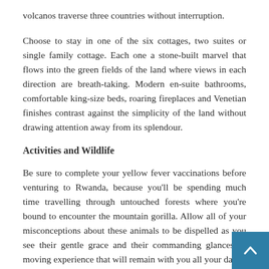volcanos traverse three countries without interruption.
Choose to stay in one of the six cottages, two suites or single family cottage. Each one a stone-built marvel that flows into the green fields of the land where views in each direction are breath-taking. Modern en-suite bathrooms, comfortable king-size beds, roaring fireplaces and Venetian finishes contrast against the simplicity of the land without drawing attention away from its splendour.
Activities and Wildlife
Be sure to complete your yellow fever vaccinations before venturing to Rwanda, because you'll be spending much time travelling through untouched forests where you're bound to encounter the mountain gorilla. Allow all of your misconceptions about these animals to be dispelled as you see their gentle grace and their commanding glances. T moving experience that will remain with you all your da